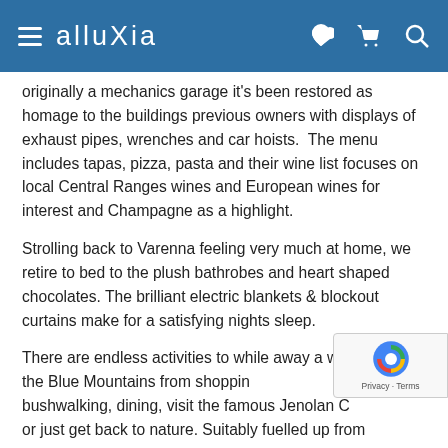alluXia
originally a mechanics garage it's been restored as homage to the buildings previous owners with displays of exhaust pipes, wrenches and car hoists.  The menu includes tapas, pizza, pasta and their wine list focuses on local Central Ranges wines and European wines for interest and Champagne as a highlight.
Strolling back to Varenna feeling very much at home, we retire to bed to the plush bathrobes and heart shaped chocolates. The brilliant electric blankets & blockout curtains make for a satisfying nights sleep.
There are endless activities to while away a weekend in the Blue Mountains from shopping, bushwalking, dining, visit the famous Jenolan C... or just get back to nature. Suitably fuelled up from